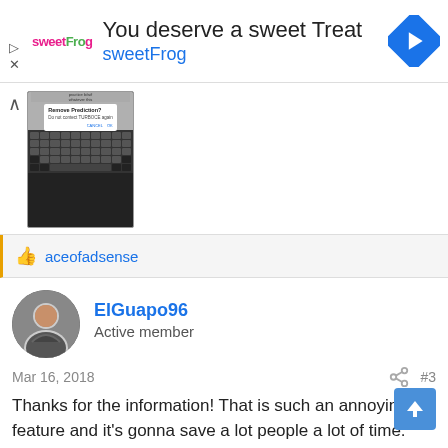[Figure (infographic): SweetFrog advertisement banner with logo, text 'You deserve a sweet Treat' and 'sweetFrog', and a blue navigation diamond icon]
[Figure (screenshot): Mobile phone screenshot showing a 'Remove Prediction?' dialog box over a dark keyboard]
👍 aceofadsense
ElGuapo96
Active member
Mar 16, 2018
#3
Thanks for the information! That is such an annoying feature and it's gonna save a lot people a lot of time. Just imagine how many times you started typing something, especially when you